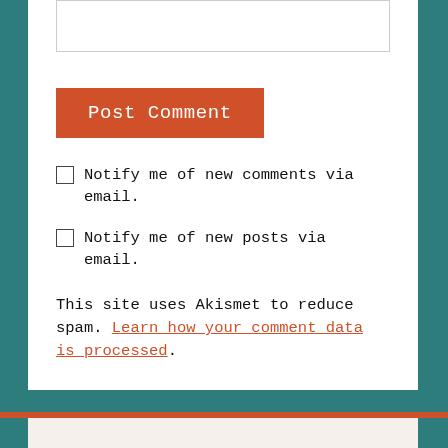[Figure (screenshot): Text input box at top of comment form]
Post Comment
Notify me of new comments via email.
Notify me of new posts via email.
This site uses Akismet to reduce spam. Learn how your comment data is processed.